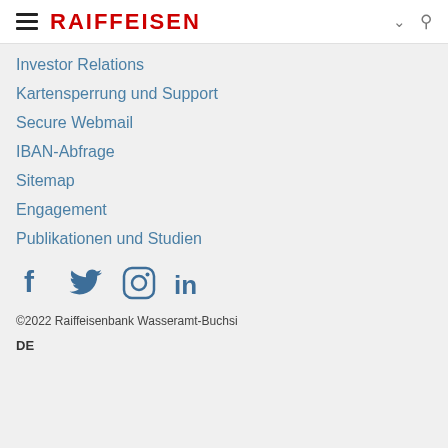RAIFFEISEN
Investor Relations
Kartensperrung und Support
Secure Webmail
IBAN-Abfrage
Sitemap
Engagement
Publikationen und Studien
[Figure (illustration): Social media icons: Facebook, Twitter, Instagram, LinkedIn in blue]
©2022 Raiffeisenbank Wasseramt-Buchsi
DE